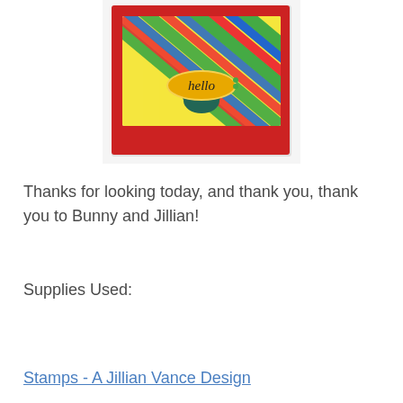[Figure (photo): A handmade greeting card with a red background, rainbow diagonal stripes, and a yellow oval label reading 'hello' with a teal decorative element below it.]
Thanks for looking today, and thank you, thank you to Bunny and Jillian!
Supplies Used:
Stamps - A Jillian Vance Design